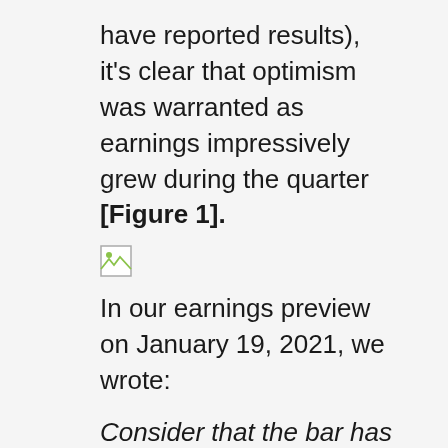have reported results), it's clear that optimism was warranted as earnings impressively grew during the quarter [Figure 1].
[Figure (other): Broken image placeholder icon]
In our earnings preview on January 19, 2021, we wrote:
Consider that the bar has been raised substantially over the past two quarters, making it tougher to clear. That probably takes positive earnings growth off the table, but a low-to-mid single-digit decline in earnings would be a positive outcome